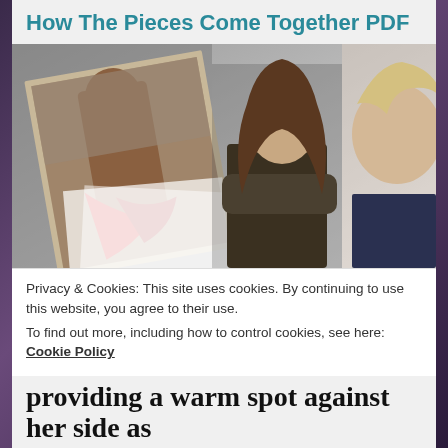How The Pieces Come Together PDF
[Figure (photo): Composite image showing three figures: a framed photo of a shirtless muscular man in an outdoor stone setting with a red cloth, a man with long brown hair in a leather jacket with arms crossed, and a blonde woman in a dark top.]
Privacy & Cookies: This site uses cookies. By continuing to use this website, you agree to their use.
To find out more, including how to control cookies, see here: Cookie Policy
Close and accept
providing a warm spot against her side as